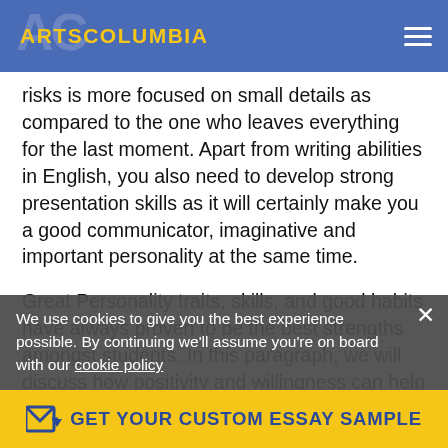ARTSCOLUMBIA
risks is more focused on small details as compared to the one who leaves everything for the last moment. Apart from writing abilities in English, you also need to develop strong presentation skills as it will certainly make you a good communicator, imaginative and important personality at the same time.
Great Personality traits, skills, and good habits have always proven to be the best strengths amongst students. In this paragraph, we will discuss how positivity and willingness can help you in achieving life goals with ease. Although it is difficult to judge strengths during an interview, you can surely tell about the personality traits and skills of a person through critical analysis.
We use cookies to give you the best experience possible. By continuing we'll assume you're on board with our cookie policy
GET YOUR CUSTOM ESSAY SAMPLE